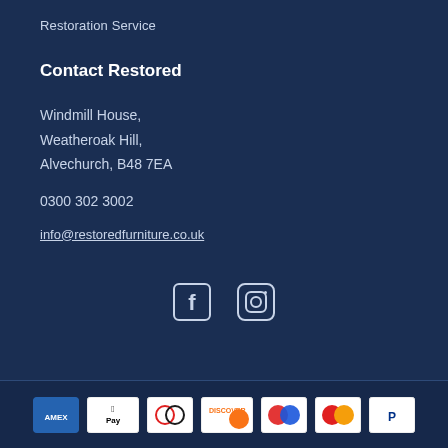Restoration Service
Contact Restored
Windmill House,
Weatheroak Hill,
Alvechurch, B48 7EA
0300 302 3002
info@restoredfurniture.co.uk
[Figure (other): Social media icons: Facebook and Instagram]
[Figure (other): Payment method icons: Amex, Apple Pay, Diners Club, Discover, Maestro, Mastercard, PayPal]